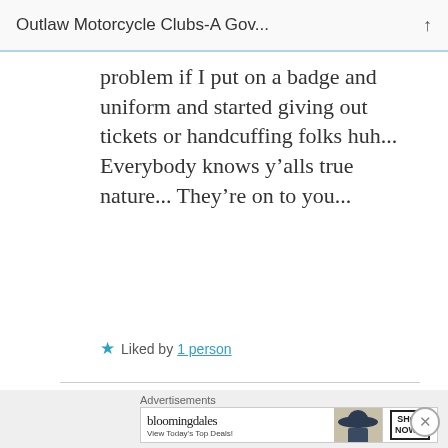Outlaw Motorcycle Clubs-A Gov...
problem if I put on a badge and uniform and started giving out tickets or handcuffing folks huh... Everybody knows y’alls true nature... They’re on to you...
★ Liked by 1 person
Rouge Nomad  FEBRUARY 11, 2016 AT 8:35 PM
Advertisements
[Figure (screenshot): Bloomingdale's advertisement banner: 'bloomingdales View Today's Top Deals!' with woman in hat and 'SHOP NOW >' button]